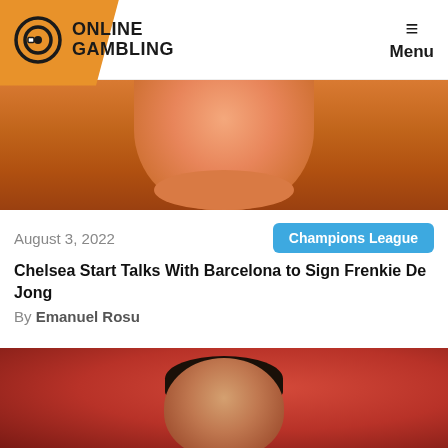ONLINE GAMBLING | Menu
[Figure (photo): Close-up photo of a footballer in an orange jersey, showing chin/neck area]
August 3, 2022
Champions League
Chelsea Start Talks With Barcelona to Sign Frenkie De Jong
By Emanuel Rosu
[Figure (photo): Photo of Cristiano Ronaldo in a red Manchester United jersey, pointing to his head and smiling/grimacing]